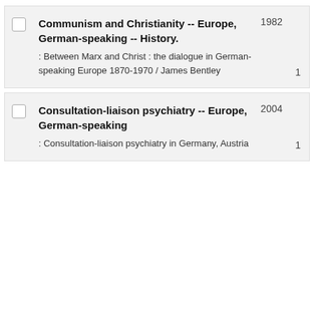Communism and Christianity -- Europe, German-speaking -- History. : Between Marx and Christ : the dialogue in German-speaking Europe 1870-1970 / James Bentley
Consultation-liaison psychiatry -- Europe, German-speaking : Consultation-liaison psychiatry in Germany, Austria